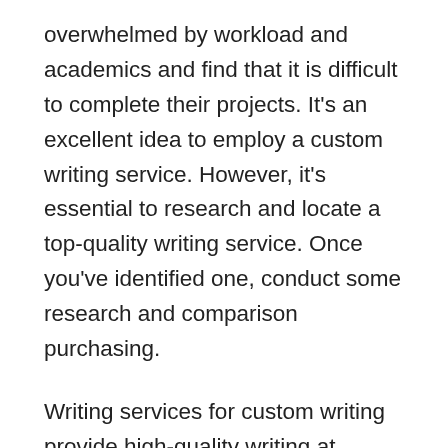overwhelmed by workload and academics and find that it is difficult to complete their projects. It's an excellent idea to employ a custom writing service. However, it's essential to research and locate a top-quality writing service. Once you've identified one, conduct some research and comparison purchasing.
Writing services for custom writing provide high-quality writing at reasonable costs. Prices vary by site, but the major aspects that influence the cost are the number of pages, urgency and the nature of the task. The majority of students make mistakes in their writing, specifically when it comes to formatting and citations. They are